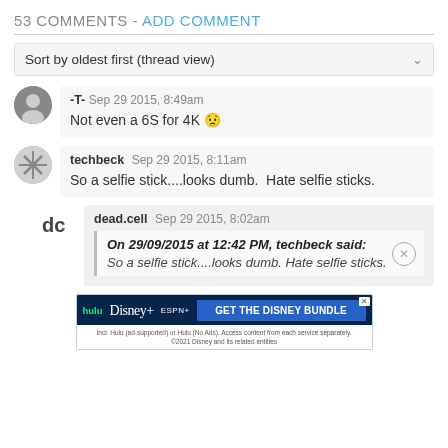53 COMMENTS - ADD COMMENT
Sort by oldest first (thread view)
-T-  Sep 29 2015, 8:49am
Not even a 6S for 4K 😟
techbeck  Sep 29 2015, 8:11am
So a selfie stick....looks dumb.  Hate selfie sticks.
dead.cell  Sep 29 2015, 8:02am
On 29/09/2015 at 12:42 PM, techbeck said:
So a selfie stick....looks dumb. Hate selfie sticks.
[Figure (other): Disney Bundle advertisement banner with Hulu, Disney+, ESPN+ logos and GET THE DISNEY BUNDLE call to action]